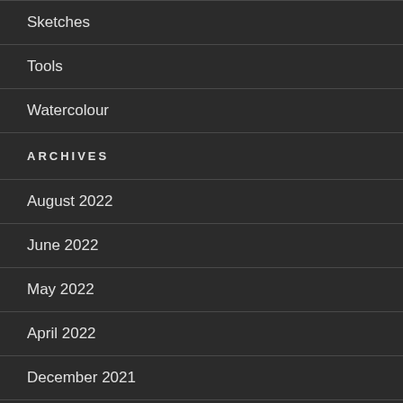Sketches
Tools
Watercolour
ARCHIVES
August 2022
June 2022
May 2022
April 2022
December 2021
October 2021